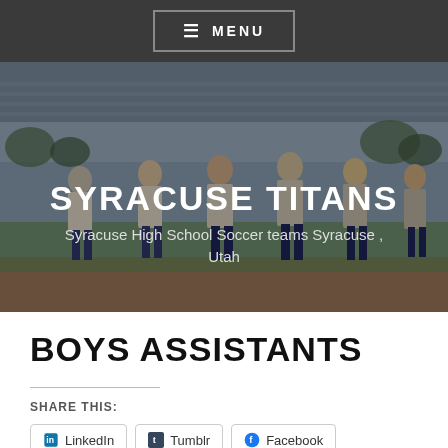MENU
[Figure (photo): Soccer team photo showing several young male players in gray and navy uniforms celebrating on a field with bleachers in the background. Overlaid with SYRACUSE TITANS title and subtitle text.]
SYRACUSE TITANS
Syracuse High School Soccer teams Syracuse , Utah
BOYS ASSISTANTS
SHARE THIS:
LinkedIn  Tumblr  Facebook  Twitter